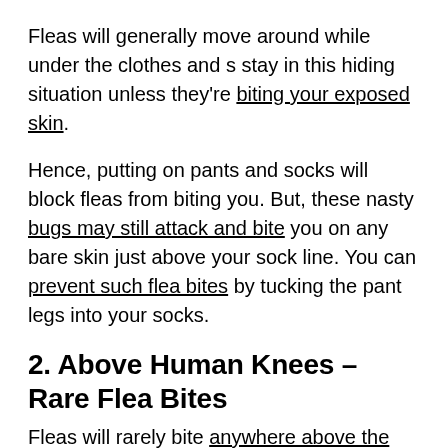Fleas will generally move around while under the clothes and s stay in this hiding situation unless they're biting your exposed skin.
Hence, putting on pants and socks will block fleas from biting you. But, these nasty bugs may still attack and bite you on any bare skin just above your sock line. You can prevent such flea bites by tucking the pant legs into your socks.
2. Above Human Knees – Rare Flea Bites
Fleas will rarely bite anywhere above the human. Despite that cat fleas can jump about 8 inches, it's not